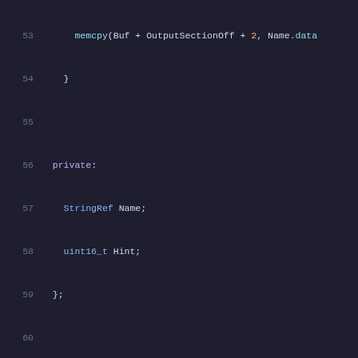Code listing showing C++ class definitions: HintNameChunk private members (lines 53-59), LookupChunk class definition (lines 61-72), and partial next class (line 73+)